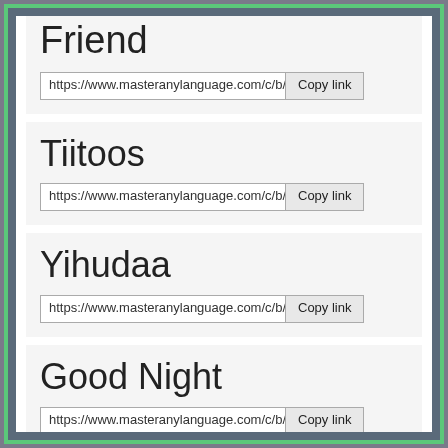Friend
https://www.masteranylanguage.com/c/b/e
Tiitoos
https://www.masteranylanguage.com/c/b/e
Yihudaa
https://www.masteranylanguage.com/c/b/e
Good Night
https://www.masteranylanguage.com/c/b/e